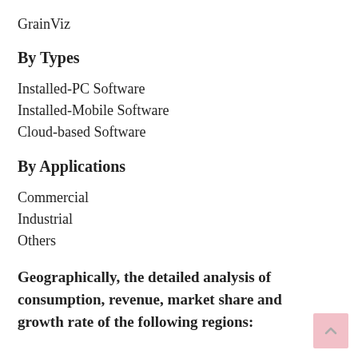GrainViz
By Types
Installed-PC Software
Installed-Mobile Software
Cloud-based Software
By Applications
Commercial
Industrial
Others
Geographically, the detailed analysis of consumption, revenue, market share and growth rate of the following regions: